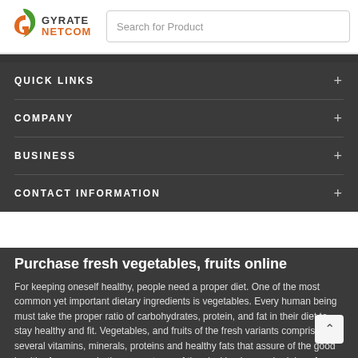GYRATE NETCOM — Search for Product
QUICK LINKS
COMPANY
BUSINESS
CONTACT INFORMATION
Purchase fresh vegetables, fruits online
For keeping oneself healthy, people need a proper diet. One of the most common yet important dietary ingredients is vegetables. Every human being must take the proper ratio of carbohydrates, protein, and fat in their diet to stay healthy and fit. Vegetables, and fruits of the fresh variants comprises of several vitamins, minerals, proteins and healthy fats that assure of the good health of a person. In the present age of time lacking busy schedules of everyone, getting fresh fruits and